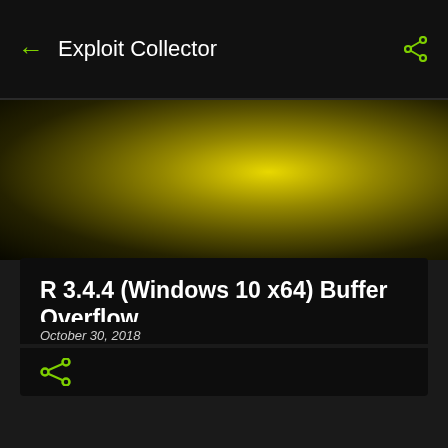← Exploit Collector 🔍
[Figure (photo): Blurred yellow-green gradient bokeh background image used as banner]
R 3.4.4 (Windows 10 x64) Buffer Overflow
October 30, 2018
[Figure (other): Share icon (green)]